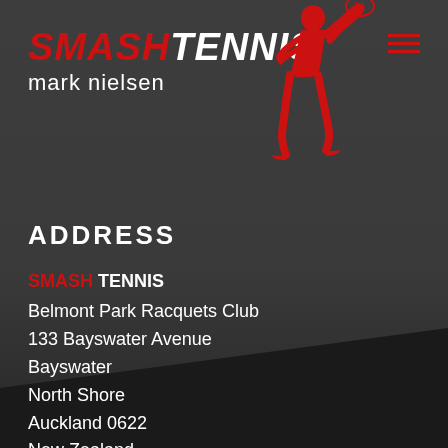SMASH TENNIS mark nielsen
[Figure (illustration): Red silhouette of a tennis player mid-swing against dark background]
ADDRESS
SMASH TENNIS
Belmont Park Racquets Club
133 Bayswater Avenue
Bayswater
North Shore
Auckland 0622
New Zealand